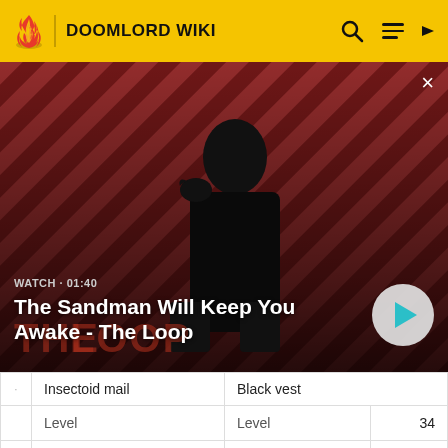DOOMLORD WIKI
[Figure (screenshot): Video banner showing a dark figure with a bird on their shoulder against a red diagonal striped background. Text overlay: WATCH · 01:40 / The Sandman Will Keep You Awake - The Loop. Play button on right.]
| · | Insectoid mail | · | Black vest |
| Level | 33 | Level | 34 |
| Strength | +4 | Strength | +5 |